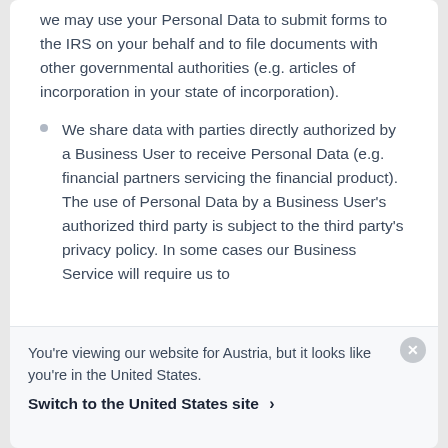we may use your Personal Data to submit forms to the IRS on your behalf and to file documents with other governmental authorities (e.g. articles of incorporation in your state of incorporation).
We share data with parties directly authorized by a Business User to receive Personal Data (e.g. financial partners servicing the financial product). The use of Personal Data by a Business User's authorized third party is subject to the third party's privacy policy. In some cases our Business Service will require us to
You're viewing our website for Austria, but it looks like you're in the United States.
Switch to the United States site ›